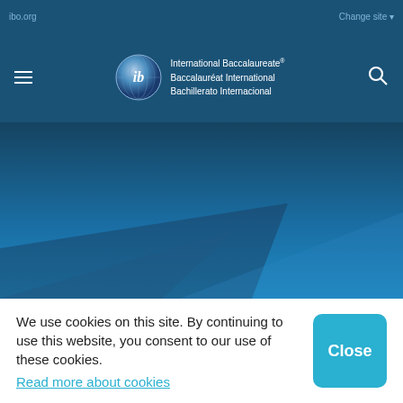ibo.org | Change site
[Figure (logo): International Baccalaureate logo with globe icon and text in English, French, and Spanish]
[Figure (illustration): Blue gradient hero banner with geometric shape overlay]
We use cookies on this site. By continuing to use this website, you consent to our use of these cookies.
Read more about cookies
Close